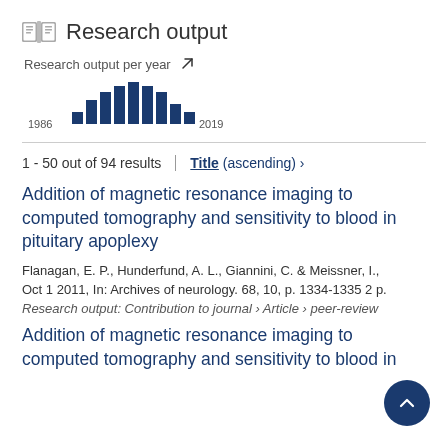Research output
Research output per year
[Figure (bar-chart): Research output per year]
1 - 50 out of 94 results
Title (ascending) ›
Addition of magnetic resonance imaging to computed tomography and sensitivity to blood in pituitary apoplexy
Flanagan, E. P., Hunderfund, A. L., Giannini, C. & Meissner, I., Oct 1 2011, In: Archives of neurology. 68, 10, p. 1334-1335 2 p.
Research output: Contribution to journal › Article › peer-review
Addition of magnetic resonance imaging to computed tomography and sensitivity to blood in